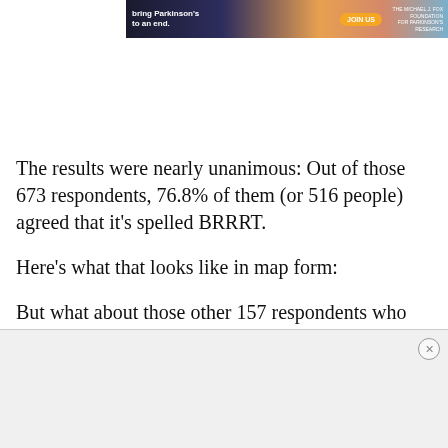[Figure (photo): Advertisement banner: bring Parkinson's to an end. JOIN US. The Michael J. Fox Foundation for Parkinson's Research.]
The results were nearly unanimous: Out of those 673 respondents, 76.8% of them (or 516 people) agreed that it's spelled BRRRT.
Here's what that looks like in map form:
But what about those other 157 respondents who offered up spellings (and, we imagine, pronunciations)
[Figure (photo): Bottom advertisement banner area with close button]